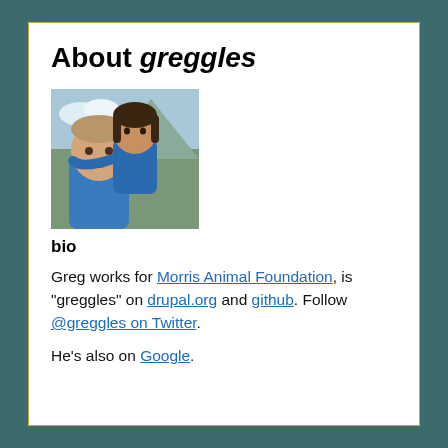About greggles
[Figure (photo): Photo of two people, a man and a child, smiling together outdoors]
bio
Greg works for Morris Animal Foundation, is "greggles" on drupal.org and github. Follow @greggles on Twitter.
He's also on Google.